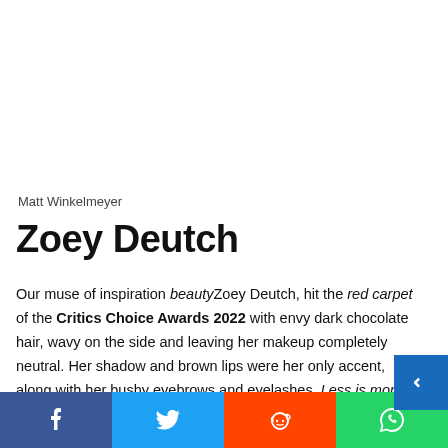Matt Winkelmeyer
Zoey Deutch
Our muse of inspiration beautyZoey Deutch, hit the red carpet of the Critics Choice Awards 2022 with envy dark chocolate hair, wavy on the side and leaving her makeup completely neutral. Her shadow and brown lips were her only accent, along with her bushy eyebrows and eyelashes. Less is more
Facebook | Twitter | Reddit | WhatsApp